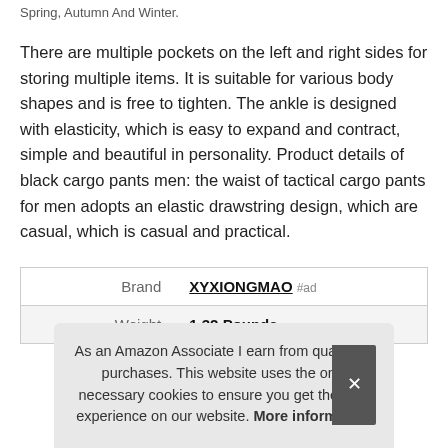Spring, Autumn And Winter.
There are multiple pockets on the left and right sides for storing multiple items. It is suitable for various body shapes and is free to tighten. The ankle is designed with elasticity, which is easy to expand and contract, simple and beautiful in personality. Product details of black cargo pants men: the waist of tactical cargo pants for men adopts an elastic drawstring design, which are casual, which is casual and practical.
| Brand | XYXIONGMAO #ad |
| --- | --- |
| Weight | 1.32 Pounds |
As an Amazon Associate I earn from qualifying purchases. This website uses the only necessary cookies to ensure you get the best experience on our website. More information